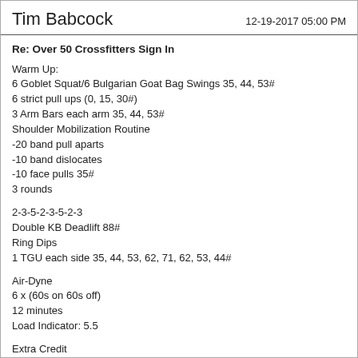Tim Babcock   12-19-2017 05:00 PM
Re: Over 50 Crossfitters Sign In
Warm Up:
6 Goblet Squat/6 Bulgarian Goat Bag Swings 35, 44, 53#
6 strict pull ups (0, 15, 30#)
3 Arm Bars each arm 35, 44, 53#
Shoulder Mobilization Routine
-20 band pull aparts
-10 band dislocates
-10 face pulls 35#
3 rounds
2-3-5-2-3-5-2-3
Double KB Deadlift 88#
Ring Dips
1 TGU each side 35, 44, 53, 62, 71, 62, 53, 44#
Air-Dyne
6 x (60s on 60s off)
12 minutes
Load Indicator: 5.5
Extra Credit
1 strict ring muscle up
20 wrist extension w/Flexbar
5 Somersaults (forward rolls)
1 strict ring muscle up